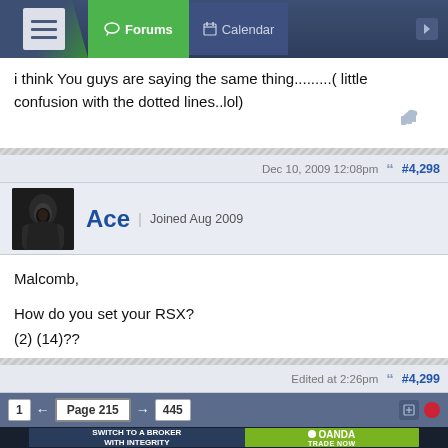Forums | Calendar
i think You guys are saying the same thing.........( little confusion with the dotted lines..lol)
Dec 10, 2009 12:08pm   #4,298
Ace | Joined Aug 2009
Malcomb,

How do you set your RSX?
(2) (14)??

Look for divergence, treat it like the RSI (70/50/30)
Edited at 2:26pm   #4,299
1 ← Page 215 → 445
[Figure (infographic): OANDA advertisement: SWITCH TO A BROKER WITH INTEGRITY | OANDA TRADE NOW]